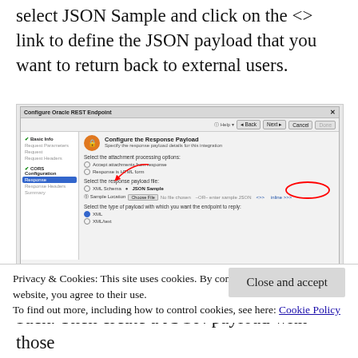select JSON Sample and click on the <> link to define the JSON payload that you want to return back to external users.
[Figure (screenshot): Screenshot of 'Configure Oracle REST Endpoint' dialog showing the Response step with JSON Sample selected and a red circle annotation around the <> inline link, and a red arrow pointing to JSON Sample radio option.]
Privacy & Cookies: This site uses cookies. By continuing to use this website, you agree to their use.
To find out more, including how to control cookies, see here: Cookie Policy
Close and accept
back. Then create a JSON payload with those